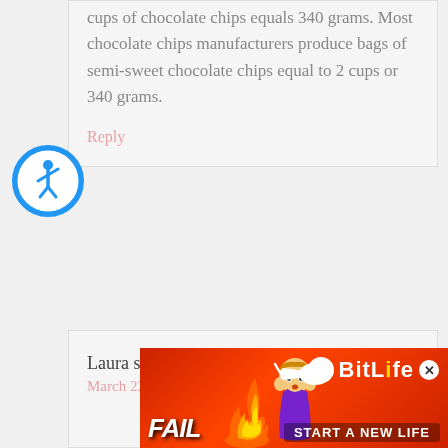cups of chocolate chips equals 340 grams. Most chocolate chips manufacturers produce bags of semi-sweet chocolate chips equal to 2 cups or 340 grams.
Reply
[Figure (illustration): Blue circular accessibility icon with person in wheelchair symbol]
Laura says
March 22, 2021 at 6:43 pm
[Figure (illustration): BitLife advertisement banner with FAIL text, cartoon character, flames, and 'START A NEW LIFE' tagline on red background]